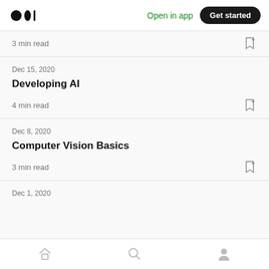Medium — Open in app | Get started
3 min read
Dec 15, 2020
Developing AI
4 min read
Dec 8, 2020
Computer Vision Basics
3 min read
Dec 1, 2020
Home | Search | Profile